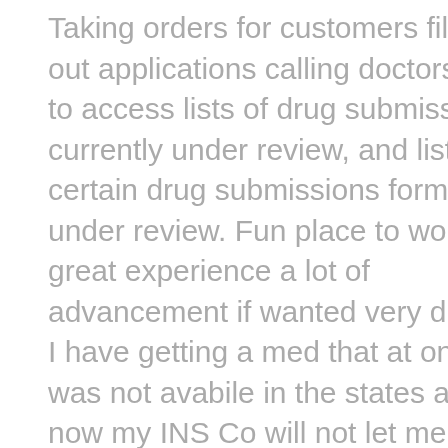Taking orders for customers filling out applications calling doctors. How to access lists of drug submissions currently under review, and lists of certain drug submissions formerly under review. Fun place to work great experience a lot of advancement if wanted very diverse. I have getting a med that at one time was not avabile in the states and now my INS Co will not let me have it they want me to take a generic that I do notget along with. Lester Fornshell - Feb 4th, My co-workers are nice as the